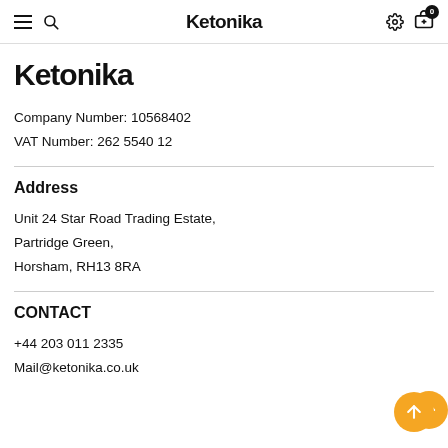Ketonika
Ketonika
Company Number: 10568402
VAT Number: 262 5540 12
Address
Unit 24 Star Road Trading Estate,
Partridge Green,
Horsham, RH13 8RA
CONTACT
+44 203 011 2335
Mail@ketonika.co.uk